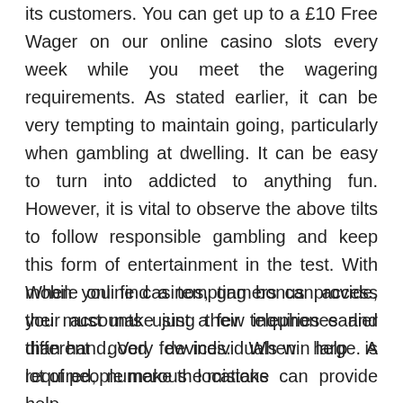its customers. You can get up to a £10 Free Wager on our online casino slots every week while you meet the wagering requirements. As stated earlier, it can be very tempting to maintain going, particularly when gambling at dwelling. It can be easy to turn into addicted to anything fun. However, it is vital to observe the above tilts to follow responsible gambling and keep this form of entertainment in the test. With mobile online casinos, gamers can access their accounts using their telephones and different good devices. When help is required, numerous locations can provide help.
When you find a tempting bonus provide, you must make just a few inquiries earlier than hand. Very few individuals win large. A lot of people make the mistake